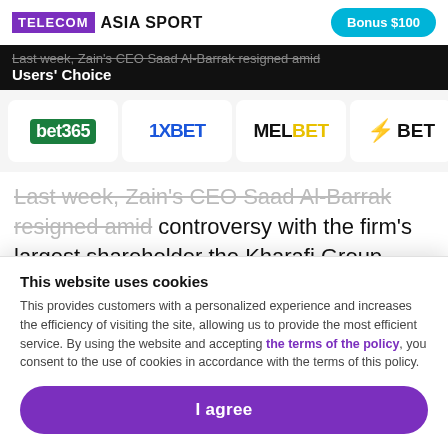TELECOM ASIA SPORT | Bonus $100
Users' Choice
[Figure (logo): Bookmaker logos row: bet365, 1XBET, MELBET, 22BET]
Last week, Zain's CEO Saad Al-Barrak resigned amid controversy with the firm's largest shareholder the Kharafi Group.
Late last year, the Kharafi Group reportedly signed a preliminary deal with a consortium ,led by Delhi-based property group Vavasi, which was angling for up to a 46%
This website uses cookies
This provides customers with a personalized experience and increases the efficiency of visiting the site, allowing us to provide the most efficient service. By using the website and accepting the terms of the policy, you consent to the use of cookies in accordance with the terms of this policy.
I agree